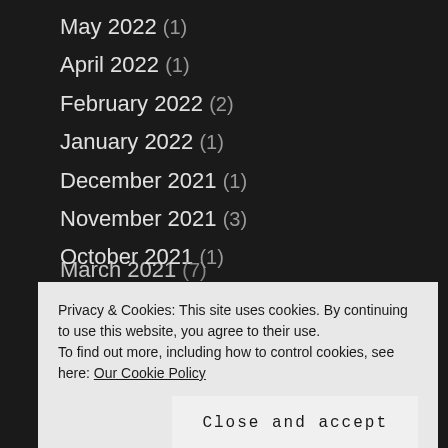May 2022 (1)
April 2022 (1)
February 2022 (2)
January 2022 (1)
December 2021 (1)
November 2021 (3)
October 2021 (1)
August 2021 (1)
June 2021 (2)
May 2021 (2)
April 2021 (3)
March 2021 (7)
Privacy & Cookies: This site uses cookies. By continuing to use this website, you agree to their use.
To find out more, including how to control cookies, see here: Our Cookie Policy
August 2020 (1)